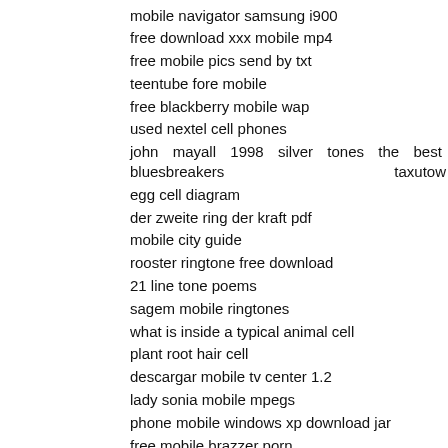mobile navigator samsung i900
free download xxx mobile mp4
free mobile pics send by txt
teentube fore mobile
free blackberry mobile wap
used nextel cell phones
john mayall 1998 silver tones the best bluesbreakers taxutow
egg cell diagram
der zweite ring der kraft pdf
mobile city guide
rooster ringtone free download
21 line tone poems
sagem mobile ringtones
what is inside a typical animal cell
plant root hair cell
descargar mobile tv center 1.2
lady sonia mobile mpegs
phone mobile windows xp download jar
free mobile brazzer porn
deer valley mobile homes
ring central
free mobile cumshot download